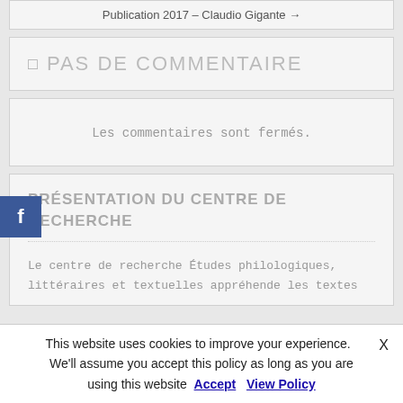Publication 2017 – Claudio Gigante →
PAS DE COMMENTAIRE
Les commentaires sont fermés.
PRÉSENTATION DU CENTRE DE RECHERCHE
Le centre de recherche Études philologiques, littéraires et textuelles appréhende les textes
This website uses cookies to improve your experience. We'll assume you accept this policy as long as you are using this website Accept View Policy